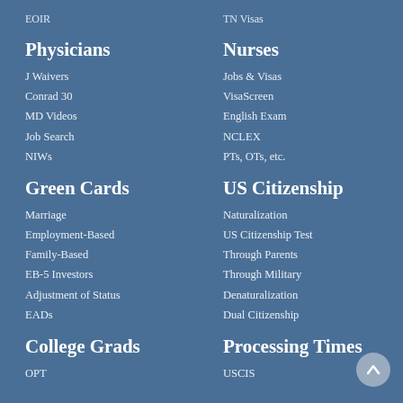EOIR
TN Visas
Physicians
J Waivers
Conrad 30
MD Videos
Job Search
NIWs
Nurses
Jobs & Visas
VisaScreen
English Exam
NCLEX
PTs, OTs, etc.
Green Cards
Marriage
Employment-Based
Family-Based
EB-5 Investors
Adjustment of Status
EADs
US Citizenship
Naturalization
US Citizenship Test
Through Parents
Through Military
Denaturalization
Dual Citizenship
College Grads
OPT
Processing Times
USCIS